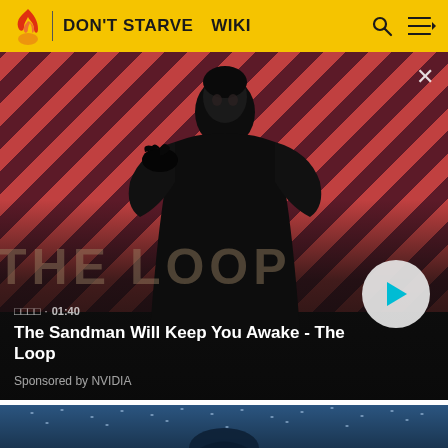DON'T STARVE  WIKI
[Figure (screenshot): Video thumbnail for 'The Sandman Will Keep You Awake - The Loop' with a character in dark clothing and a crow on striped red background. Duration shown as 01:40. Play button visible. Sponsored by NVIDIA.]
□□□□ · 01:40
The Sandman Will Keep You Awake - The Loop
Sponsored by NVIDIA
[Figure (screenshot): Partial view of a second video thumbnail with dark blue ocean/water scene with birds in the sky.]